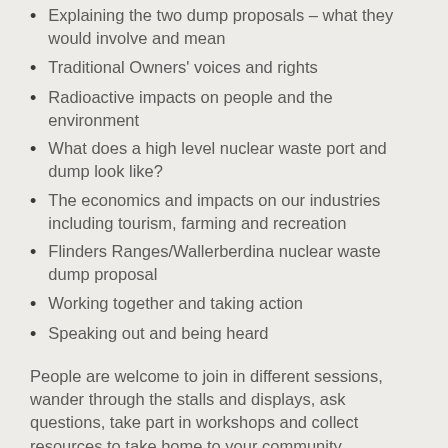Explaining the two dump proposals – what they would involve and mean
Traditional Owners' voices and rights
Radioactive impacts on people and the environment
What does a high level nuclear waste port and dump look like?
The economics and impacts on our industries including tourism, farming and recreation
Flinders Ranges/Wallerberdina nuclear waste dump proposal
Working together and taking action
Speaking out and being heard
People are welcome to join in different sessions, wander through the stalls and displays, ask questions, take part in workshops and collect resources to take home to your community.
Everyone is welcome at this free event. It will be held at the Institute Theatre, Commercial Rd and at